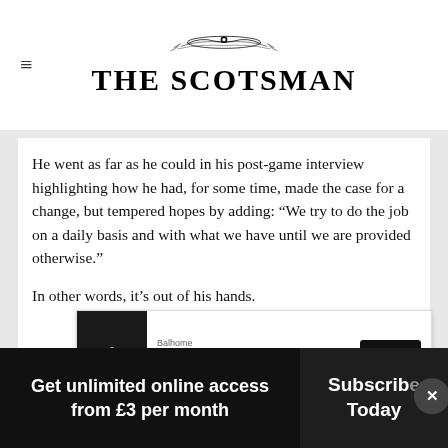THE SCOTSMAN
He went as far as he could in his post-game interview highlighting how he had, for some time, made the case for a change, but tempered hopes by adding: “We try to do the job on a daily basis and with what we have until we are provided otherwise.”
In other words, it’s out of his hands.
[Figure (screenshot): Advertisement banner for Balhome luxury home furnisher with Open button]
– someone with grit, characters who will fight
Get unlimited online access from £3 per month
Subscribe Today